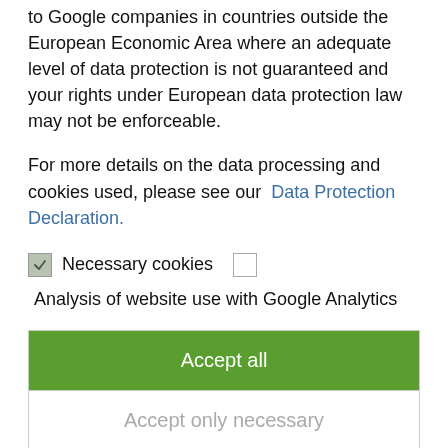to Google companies in countries outside the European Economic Area where an adequate level of data protection is not guaranteed and your rights under European data protection law may not be enforceable.
For more details on the data processing and cookies used, please see our Data Protection Declaration.
Necessary cookies [checked checkbox] [unchecked checkbox]
Analysis of website use with Google Analytics
Accept all
Accept only necessary
Save and Close